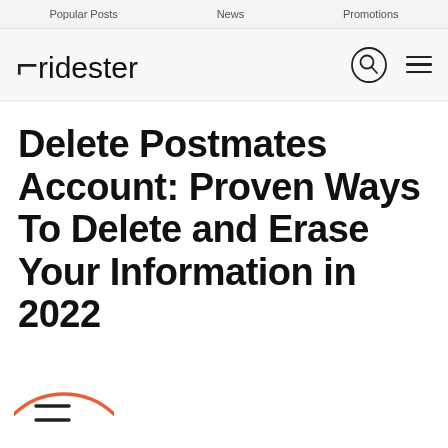Popular Posts   News   Promotions
[Figure (logo): Ridester logo with bracket and stylized text, search icon circle, and hamburger menu lines]
Delete Postmates Account: Proven Ways To Delete and Erase Your Information in 2022
[Figure (illustration): Partial orange circle icon with lines inside, partially cut off at bottom of page]